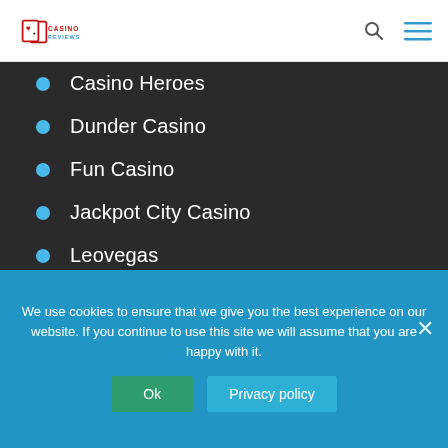Casino Reviews
Casino Heroes
Dunder Casino
Fun Casino
Jackpot City Casino
Leovegas
Rizk
Spinpalace
We use cookies to ensure that we give you the best experience on our website. If you continue to use this site we will assume that you are happy with it.
Ok   Privacy policy